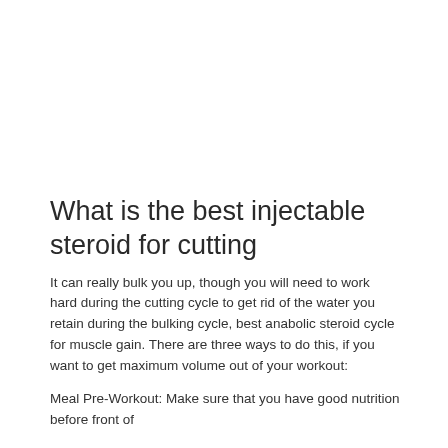What is the best injectable steroid for cutting
It can really bulk you up, though you will need to work hard during the cutting cycle to get rid of the water you retain during the bulking cycle, best anabolic steroid cycle for muscle gain. There are three ways to do this, if you want to get maximum volume out of your workout:
Meal Pre-Workout: Make sure that you have good nutrition before front of